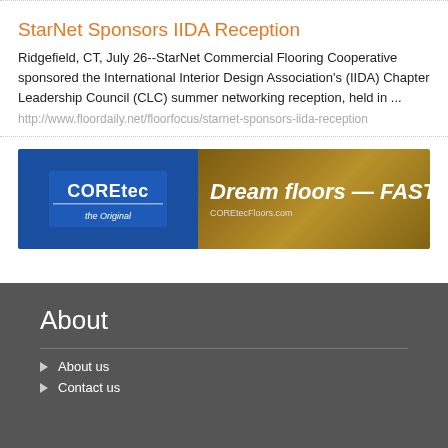StarNet Sponsors IIDA Reception
Ridgefield, CT, July 26--StarNet Commercial Flooring Cooperative sponsored the International Interior Design Association's (IIDA) Chapter Leadership Council (CLC) summer networking reception, held in ...
http://www.floordaily.net/floorfocus/starnet-sponsors-iida-reception
[Figure (illustration): COREtec flooring advertisement banner. Left section: blue background with COREtec the Original logo. Middle: wood floor background with text 'Dream floors — FAST.' and 'COREtecFloors.com'. Right: teal background with house and delivery truck icon.]
About
About us
Contact us